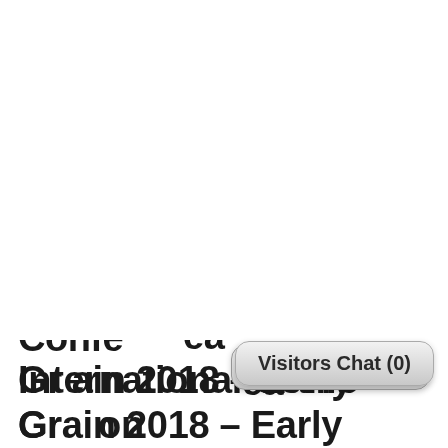International Conference on Grain 2018 – Early … on
[Figure (screenshot): Visitors Chat (0) popup bubble overlay on top-right portion of the page]